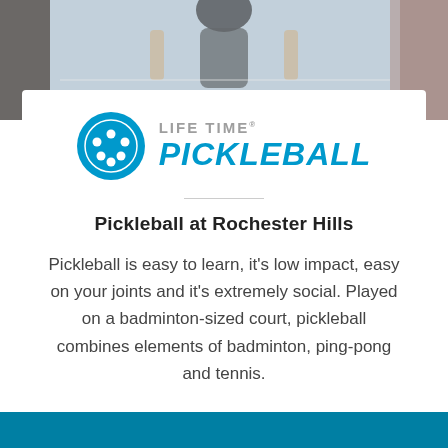[Figure (photo): Background photo of people playing pickleball, blurred, showing paddles and players]
[Figure (logo): Life Time Pickleball logo: cyan pickleball icon on left, 'LIFE TIME' in gray uppercase and 'PICKLEBALL' in bold cyan italic uppercase on right]
Pickleball at Rochester Hills
Pickleball is easy to learn, it's low impact, easy on your joints and it's extremely social. Played on a badminton-sized court, pickleball combines elements of badminton, ping-pong and tennis.
[Figure (other): Teal/dark cyan footer bar at bottom of page]